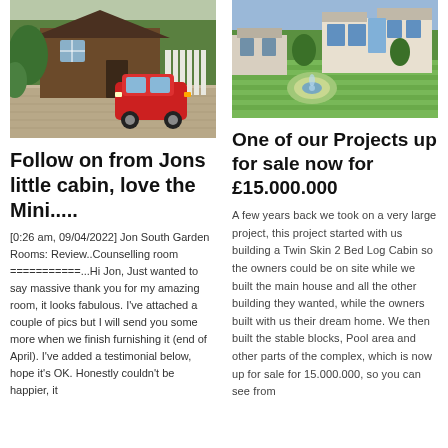[Figure (photo): A brown wooden cabin/garden room with a red Mini parked on a brick driveway, surrounded by greenery.]
Follow on from Jons little cabin, love the Mini.....
[0:26 am, 09/04/2022] Jon South Garden Rooms: Review..Counselling room ===========...Hi Jon, Just wanted to say massive thank you for my amazing room, it looks fabulous. I've attached a couple of pics but I will send you some more when we finish furnishing it (end of April). I've added a testimonial below, hope it's OK. Honestly couldn't be happier, it
[Figure (photo): A large modern house with extensive manicured lawn featuring a circular flower bed with a fountain, and a pool area.]
One of our Projects up for sale now for £15.000.000
A few years back we took on a very large project, this project started with us building a Twin Skin 2 Bed Log Cabin so the owners could be on site while we built the main house and all the other building they wanted, while the owners built with us their dream home. We then built the stable blocks, Pool area and other parts of the complex, which is now up for sale for 15.000.000, so you can see from